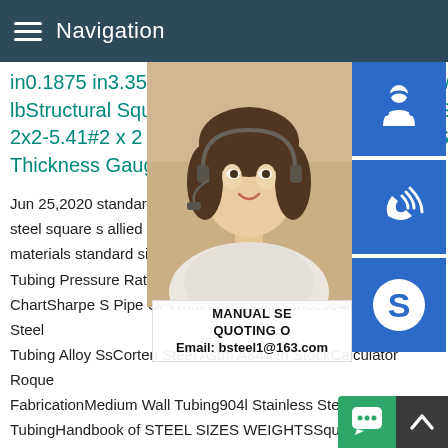Navigation
in0.1875 in3.35 lbStructural S 1/2x1 1/2-3.71#1 1/2 x 1 1/2 i lbStructural Square Tubing-2x in0.1875 in4.32 lbStructural S 2x2-5.41#2 x 2 in0.2500 in5.4 products.anssteelSquare Tub Thickness Gauge Chart - Rev
Jun 25,2020 standard square tubing dime steel square s allied conduit sdy metals st materials standard sizes tectron mechanic Tubing Pressure Ratings Air Way ManufacturingSquare Gauge ChartSharpe S Pipe Or What Is The Difference904l Stainless Steel Tubing Alloy SsCorten Steel Astm A847 In StockCalculator Rogue FabricationMedium Wall Tubing904l Stainless Steel TubingHandbook of STEEL SIZES WEIGHTSSquare W-1 Precision Ground Flat 0-1 Metric Drill Rod 0-1 A-2 Plate ALLO
[Figure (photo): Customer service representative woman wearing headset, smiling]
[Figure (infographic): Three blue square icon buttons: headset/support icon, phone/call icon, Skype icon]
MANUAL SE QUOTING O Email: bsteel1@163.com